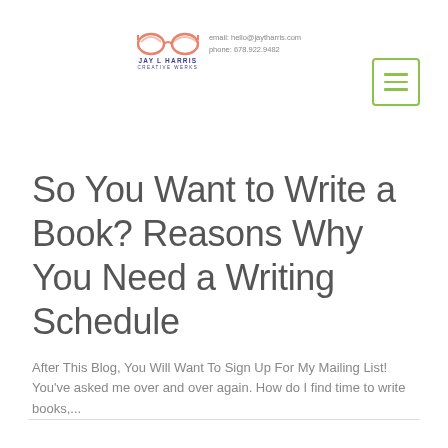[Figure (logo): Jay L Harris Creative Werks logo with orange glasses icon and blue text, plus contact info email: hello@jaytharris.com, phone: 678.922.9482, and a green hamburger menu button]
So You Want to Write a Book? Reasons Why You Need a Writing Schedule
After This Blog, You Will Want To Sign Up For My Mailing List! You've asked me over and over again. How do I find time to write books....